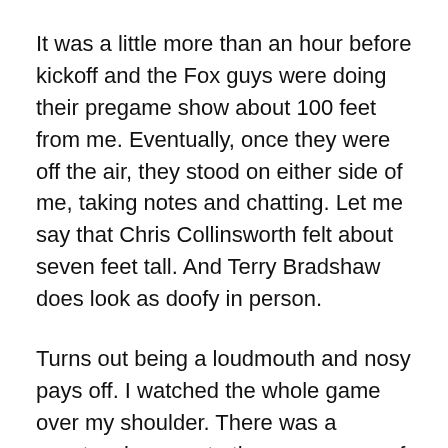It was a little more than an hour before kickoff and the Fox guys were doing their pregame show about 100 feet from me. Eventually, once they were off the air, they stood on either side of me, taking notes and chatting. Let me say that Chris Collinsworth felt about seven feet tall. And Terry Bradshaw does look as doofy in person.
Turns out being a loudmouth and nosy pays off. I watched the whole game over my shoulder. There was a spectacular pass to the near corner of my end zone that was crazy to watch. The game-winning field goal was also on my end of the field.
But it wasn't all fun and games. The halftime show was by U2 and of course was a tribute to the victims of September 11th — they used a projector to scroll the names of those who died in the attacks. Because of where I